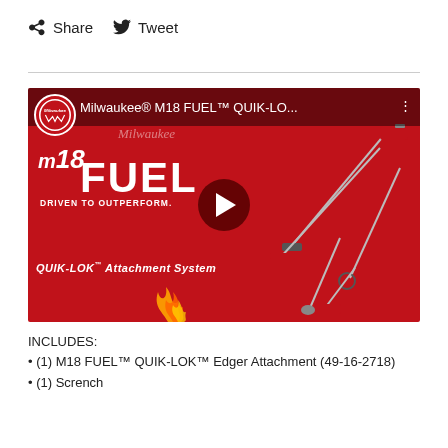f Share  🐦 Tweet
[Figure (screenshot): YouTube video thumbnail for Milwaukee® M18 FUEL™ QUIK-LOK™ Attachment System. Red background with M18 FUEL branding, QUIK-LOK Attachment System text, Milwaukee logo, play button, various tool attachments shown on right side, flame at bottom.]
INCLUDES:
• (1) M18 FUEL™ QUIK-LOK™ Edger Attachment (49-16-2718)
• (1) Scrench